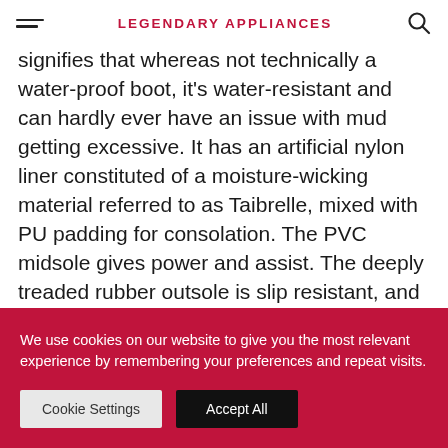LEGENDARY APPLIANCES
signifies that whereas not technically a water-proof boot, it's water-resistant and can hardly ever have an issue with mud getting excessive. It has an artificial nylon liner constituted of a moisture-wicking material referred to as Taibrelle, mixed with PU padding for consolation. The PVC midsole gives power and assist. The deeply treaded rubber outsole is slip resistant, and really exhausting carrying.
We use cookies on our website to give you the most relevant experience by remembering your preferences and repeat visits.